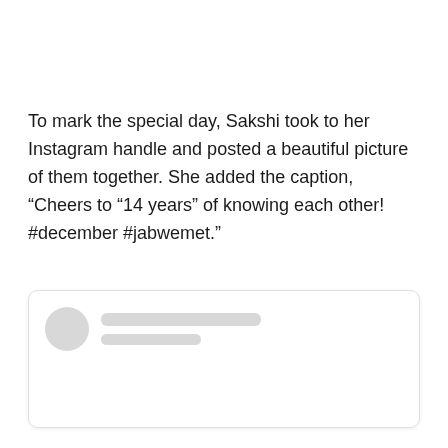To mark the special day, Sakshi took to her Instagram handle and posted a beautiful picture of them together. She added the caption, “Cheers to “14 years” of knowing each other! #december #jabwemet.”
[Figure (screenshot): A blurred/redacted social media post card with a circular avatar placeholder and two grey bars representing the username and handle text.]